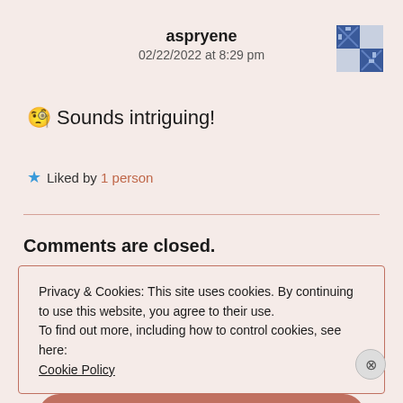aspryene
02/22/2022 at 8:29 pm
🧐 Sounds intriguing!
★ Liked by 1 person
Comments are closed.
Privacy & Cookies: This site uses cookies. By continuing to use this website, you agree to their use.
To find out more, including how to control cookies, see here:
Cookie Policy
Close and accept